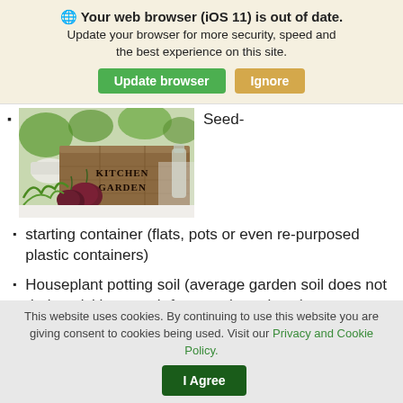🌐 Your web browser (iOS 11) is out of date. Update your browser for more security, speed and the best experience on this site.
Update browser | Ignore
[Figure (photo): Photo of a kitchen garden wooden crate with vegetables including red onions and herbs, labeled KITCHEN GARDEN]
Seed-
starting container (flats, pots or even re-purposed plastic containers)
Houseplant potting soil (average garden soil does not drain quickly enough for container plants)
This website uses cookies. By continuing to use this website you are giving consent to cookies being used. Visit our Privacy and Cookie Policy.
I Agree